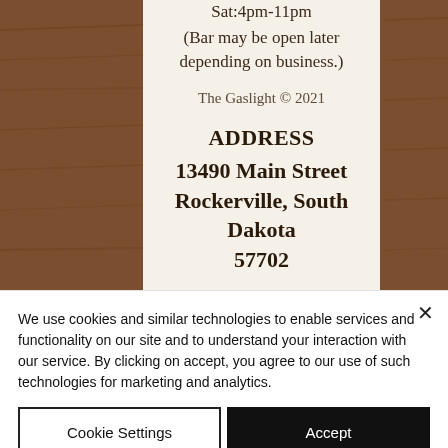Sat:4pm-11pm
(Bar may be open later depending on business.)
The Gaslight © 2021
ADDRESS
13490 Main Street
Rockerville, South Dakota
57702
FOLLOW US
We use cookies and similar technologies to enable services and functionality on our site and to understand your interaction with our service. By clicking on accept, you agree to our use of such technologies for marketing and analytics.